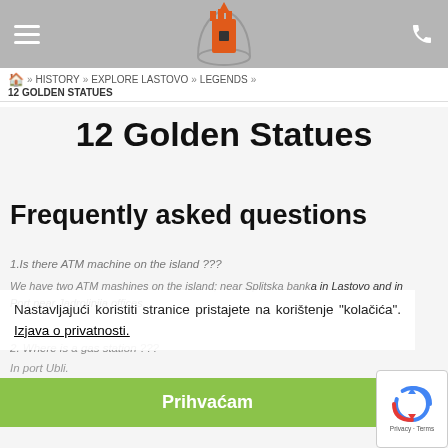Navigation bar with hamburger menu, logo, and phone icon
Home » HISTORY » EXPLORE LASTOVO » LEGENDS » 12 GOLDEN STATUES
12 Golden Statues
Frequently asked questions
1.Is there ATM machine on the island ???
We have two ATM mashines on the island; near Splitska banka in Lastovo and in Port near Jadrolinija offices.
2. Where is a gas station ???
In port Ubli.
Nastavljajući koristiti stranice pristajete na korištenje "kolačića". Izjava o privatnosti.
Prihvaćam